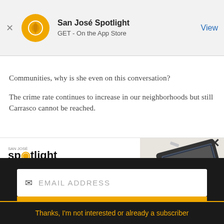[Figure (screenshot): App Store banner for San José Spotlight app with orange circular logo, title 'San José Spotlight', subtitle 'GET - On the App Store', and blue 'View' button on right]
Communities, why is she even on this conversation?

The crime rate continues to increase in our neighborhoods but still Carrasco cannot be reached.
[Figure (infographic): San José Spotlight advertisement banner with logo, headline 'Where San Jose locals start the day.', URL 'sanjosespotlight.com', and image of tablet and coffee on right]
[Figure (screenshot): Newsletter subscription widget with email address input field, yellow SUBSCRIBE button, and 'Thanks, I'm not interested or already a subscriber' footer link]